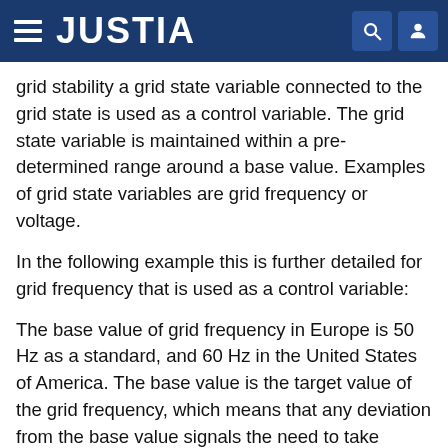JUSTIA
grid stability a grid state variable connected to the grid state is used as a control variable. The grid state variable is maintained within a pre-determined range around a base value. Examples of grid state variables are grid frequency or voltage.
In the following example this is further detailed for grid frequency that is used as a control variable:
The base value of grid frequency in Europe is 50 Hz as a standard, and 60 Hz in the United States of America. The base value is the target value of the grid frequency, which means that any deviation from the base value signals the need to take control measures towards grid stability. If energy generation exceeds energy consumption, grid frequency increases. If energy consumption exceeds energy generation, grid frequency